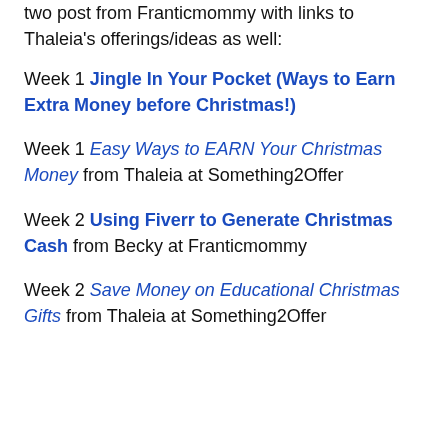two post from Franticmommy with links to Thaleia's offerings/ideas as well:
Week 1 Jingle In Your Pocket (Ways to Earn Extra Money before Christmas!)
Week 1 Easy Ways to EARN Your Christmas Money from Thaleia at Something2Offer
Week 2 Using Fiverr to Generate Christmas Cash from Becky at Franticmommy
Week 2 Save Money on Educational Christmas Gifts from Thaleia at Something2Offer